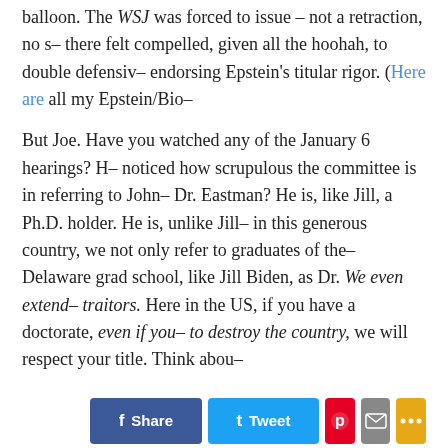balloon. The WSJ was forced to issue – not a retraction, no s– there felt compelled, given all the hoohah, to double defensiv– endorsing Epstein's titular rigor. (Here are all my Epstein/Bio
But Joe. Have you watched any of the January 6 hearings? H– noticed how scrupulous the committee is in referring to John– Dr. Eastman? He is, like Jill, a Ph.D. holder. He is, unlike Jill– in this generous country, we not only refer to graduates of the– Delaware grad school, like Jill Biden, as Dr. We even extend– traitors. Here in the US, if you have a doctorate, even if you– to destroy the country, we will respect your title. Think abou–
[Figure (other): Social share buttons: Share (Facebook), Tweet (Twitter), Pinterest, Email, More]
Margaret Soltan, June 18, 2022 11:30AM
Posted in: democracy
Trackback URL for this post:
https://www.margaretsoltan.com/wp-trackback.php?p=70022
2 Responses to “An Important Lesson for Joseph Epste…”
1. TAEKAU Says: